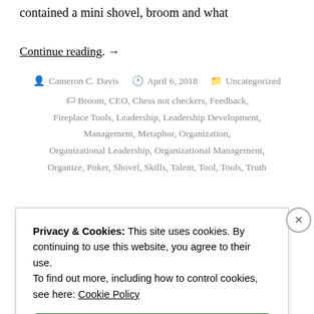contained a mini shovel, broom and what
Continue reading. →
Cameron C. Davis   April 6, 2018   Uncategorized   Broom, CEO, Chess not checkers, Feedback, Fireplace Tools, Leadership, Leadership Development, Management, Metaphor, Organization, Organizational Leadership, Organizational Management, Organize, Poker, Shovel, Skills, Talent, Tool, Tools, Truth
Privacy & Cookies: This site uses cookies. By continuing to use this website, you agree to their use.
To find out more, including how to control cookies, see here: Cookie Policy
Close and accept